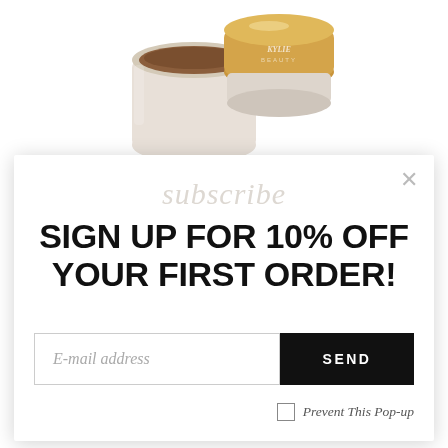[Figure (photo): Product photo showing two cosmetic containers (a dark foundation jar and a gold-lidded compact/powder) from Kylie Beauty brand, partially cropped at top of image]
[Figure (screenshot): Email subscription popup modal with close X button, script watermark text 'subscribe', bold headline 'SIGN UP FOR 10% OFF YOUR FIRST ORDER!', email input field, SEND button, and 'Prevent This Pop-up' checkbox]
SIGN UP FOR 10% OFF YOUR FIRST ORDER!
E-mail address
SEND
Prevent This Pop-up